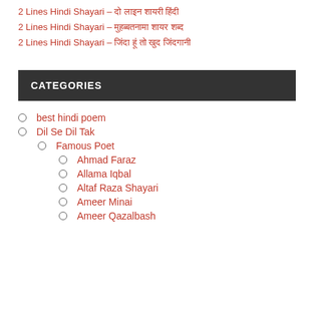2 Lines Hindi Shayari – दो लाइन शायरी हिंदी
2 Lines Hindi Shayari – मुहब्बतनामा शायर शब्द
2 Lines Hindi Shayari – जिंदा हूं तो खुद जिंदगानी
CATEGORIES
best hindi poem
Dil Se Dil Tak
Famous Poet
Ahmad Faraz
Allama Iqbal
Altaf Raza Shayari
Ameer Minai
Ameer Qazalbash